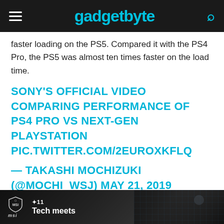gadgetbyte
faster loading on the PS5. Compared it with the PS4 Pro, the PS5 was almost ten times faster on the load time.
SONY'S OFFICIAL VIDEO COMPARING PERFORMANCE OF PS4 PRO VS NEXT-GEN PLAYSTATION PIC.TWITTER.COM/2EUROXKFLQ
— TAKASHI MOCHIZUKI (@MOCHI_WSJ) MAY 21, 2019
[Figure (photo): MSI advertisement banner with 'Tech meets' tagline and laptop imagery against a dark grid background]